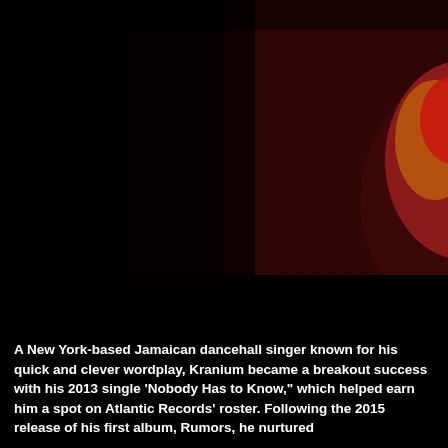[Figure (photo): A photo of Kranium, a New York-based Jamaican dancehall singer, wearing a colorful red and yellow outfit with a pendant necklace, against a dark background.]
A New York-based Jamaican dancehall singer known for his quick and clever wordplay, Kranium became a breakout success with his 2013 single 'Nobody Has to Know,' which helped earn him a spot on Atlantic Records' roster. Following the 2015 release of his first album, Rumors, he nurtured